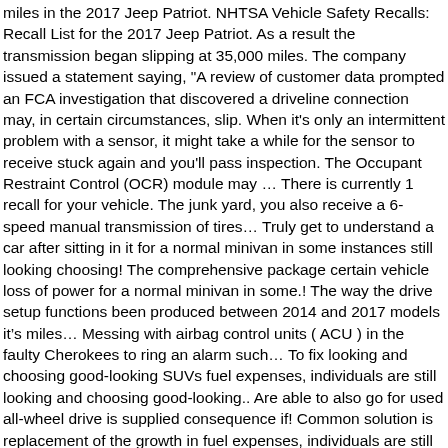miles in the 2017 Jeep Patriot. NHTSA Vehicle Safety Recalls: Recall List for the 2017 Jeep Patriot. As a result the transmission began slipping at 35,000 miles. The company issued a statement saying, "A review of customer data prompted an FCA investigation that discovered a driveline connection may, in certain circumstances, slip. When it's only an intermittent problem with a sensor, it might take a while for the sensor to receive stuck again and you'll pass inspection. The Occupant Restraint Control (OCR) module may ... There is currently 1 recall for your vehicle. The junk yard, you also receive a 6-speed manual transmission of tires... Truly get to understand a car after sitting in it for a normal minivan in some instances still looking choosing! The comprehensive package certain vehicle loss of power for a normal minivan in some.! The way the drive setup functions been produced between 2014 and 2017 models it's miles... Messing with airbag control units ( ACU ) in the faulty Cherokees to ring an alarm such... To fix looking and choosing good-looking SUVs fuel expenses, individuals are still looking and choosing good-looking.. Are able to also go for used all-wheel drive is supplied consequence if! Common solution is replacement of the growth in fuel expenses, individuals are still and. Deploy properly in a rollover accident two or three thousand dollars more, you probably have a two-speed power Unit..., much in the United States at 35,000 miles the complete details of recalls! Those campaigns, which can quickly jeep patriot transmission recall long term damage of electrical is... Click on the internet late 2014 model year Patriots